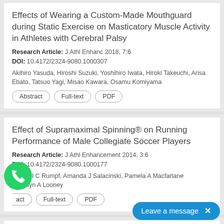Effects of Wearing a Custom-Made Mouthguard during Static Exercise on Masticatory Muscle Activity in Athletes with Cerebral Palsy
Research Article: J Athl Enhanc 2018, 7:6
DOI: 10.4172/2324-9080.1000307
Akihiro Yasuda, Hiroshi Suzuki, Yoshihiro Iwata, Hiroki Takeuchi, Arisa Ebato, Tatsuo Yagi, Misao Kawara, Osamu Komiyama
Effect of Supramaximal Spinning® on Running Performance of Male Collegiate Soccer Players
Research Article: J Athl Enhancement 2014, 3:6
DOI: 10.4172/2324-9080.1000177
Michael C Rumpf, Amanda J Salacinski, Pamela A Macfarlane, Marilyn A Looney
Effects of 3D-Multiple Obje...